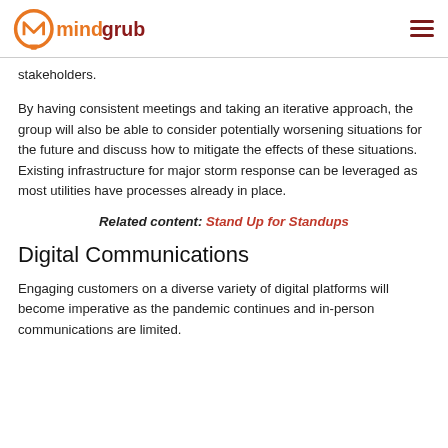mindgrub
stakeholders.
By having consistent meetings and taking an iterative approach, the group will also be able to consider potentially worsening situations for the future and discuss how to mitigate the effects of these situations. Existing infrastructure for major storm response can be leveraged as most utilities have processes already in place.
Related content: Stand Up for Standups
Digital Communications
Engaging customers on a diverse variety of digital platforms will become imperative as the pandemic continues and in-person communications are limited.